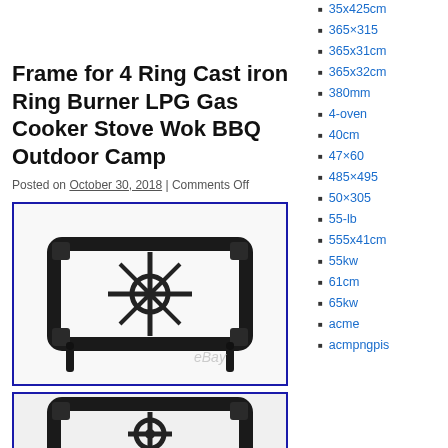Frame for 4 Ring Cast iron Ring Burner LPG Gas Cooker Stove Wok BBQ Outdoor Camp
Posted on October 30, 2018 | Comments Off
[Figure (photo): Cast iron wok ring burner frame with four legs, viewed from above at angle, eBay watermark visible]
[Figure (photo): Second photo of cast iron wok ring burner frame, similar angle, partial view]
35x425cm
365×315
365x31cm
365x32cm
380mm
4-oven
40cm
47×60
485×495
50×305
55-lb
555x41cm
55kw
61cm
65kw
acme
acmpngpis